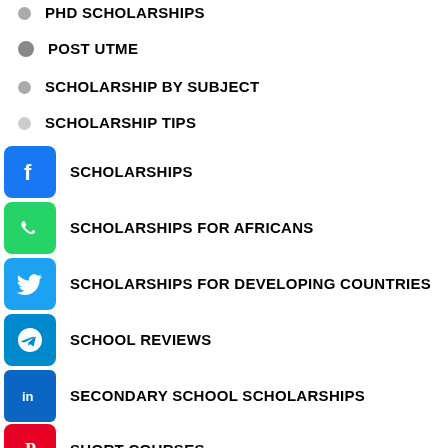PHD SCHOLARSHIPS
POST UTME
SCHOLARSHIP BY SUBJECT
SCHOLARSHIP TIPS
SCHOLARSHIPS
SCHOLARSHIPS FOR AFRICANS
SCHOLARSHIPS FOR DEVELOPING COUNTRIES
SCHOOL REVIEWS
SECONDARY SCHOOL SCHOLARSHIPS
SHORT COURSES
SOUTH AFRICAN SCHOLARSHIPS
[Figure (other): Join Our WhatsApp Group button]
STUDY ABROAD